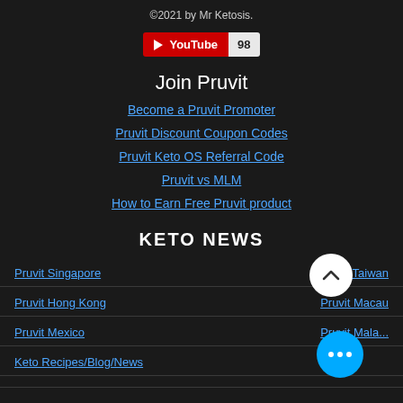©2021 by Mr Ketosis.
[Figure (other): YouTube subscribe button showing 98 subscribers]
Join Pruvit
Become a Pruvit Promoter
Pruvit Discount Coupon Codes
Pruvit Keto OS Referral Code
Pruvit vs MLM
How to Earn Free Pruvit product
KETO NEWS
Pruvit Singapore
Pruvit Taiwan
Pruvit Hong Kong
Pruvit Macau
Pruvit Mexico
Pruvit Malaysia
Keto Recipes/Blog/News